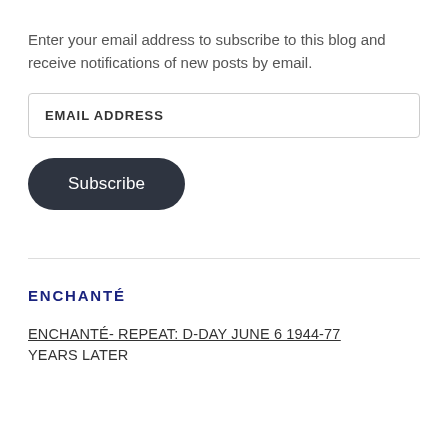Enter your email address to subscribe to this blog and receive notifications of new posts by email.
EMAIL ADDRESS
Subscribe
ENCHANTÉ
ENCHANTÉ- REPEAT: D-DAY JUNE 6 1944-77 YEARS LATER